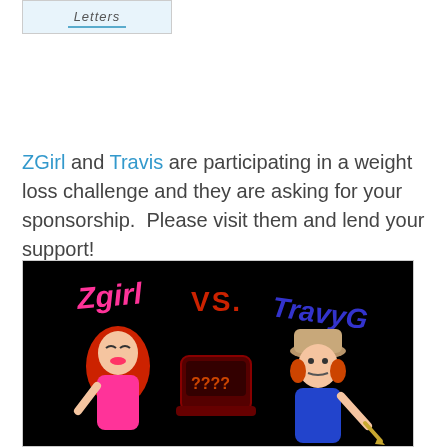[Figure (illustration): Partial view of a 'Letters' themed image/banner at the top of the page, showing text 'Letters' on a blue/sky background]
ZGirl and Travis are participating in a weight loss challenge and they are asking for your sponsorship.  Please visit them and lend your support!
[Figure (illustration): Image showing 'Zgirl VS. TravyG' weight loss challenge graphic. Black background with cartoon female character (red hair, pink outfit) on left and male character (hat, blue shirt) on right, with a typewriter/question marks in the center. Text reads 'Zgirl VS. TravyG' in pink and blue letters.]